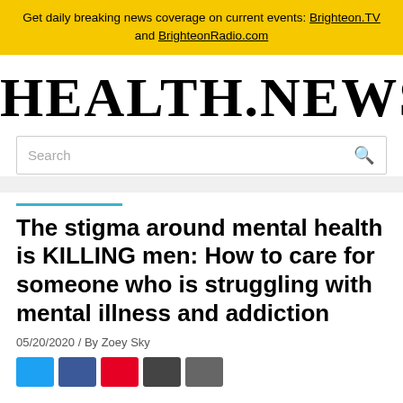Get daily breaking news coverage on current events: Brighteon.TV and BrighteonRadio.com
[Figure (logo): Health.news logo in large serif bold font]
Search
The stigma around mental health is KILLING men: How to care for someone who is struggling with mental illness and addiction
05/20/2020 / By Zoey Sky